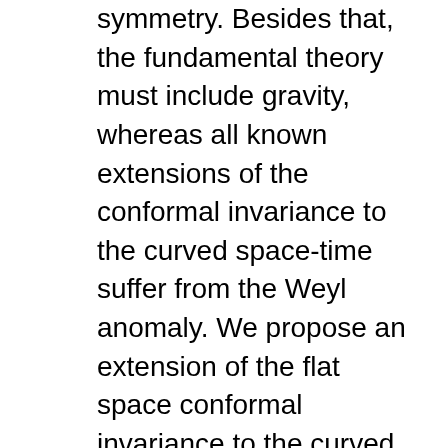symmetry. Besides that, the fundamental theory must include gravity, whereas all known extensions of the conformal invariance to the curved space-time suffer from the Weyl anomaly. We propose an extension of the flat space conformal invariance to the curved space-time which is anomaly-free. We discuss how the effective